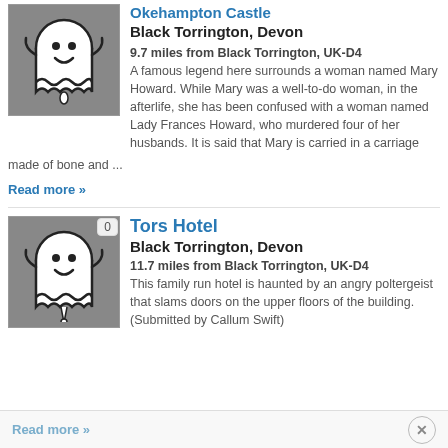[Figure (illustration): Ghost cartoon illustration on grey background with badge (partially visible, cut off at top)]
Okehampton Castle
Black Torrington, Devon
9.7 miles from Black Torrington, UK-D4
A famous legend here surrounds a woman named Mary Howard. While Mary was a well-to-do woman, in the afterlife, she has been confused with a woman named Lady Frances Howard, who murdered four of her husbands. It is said that Mary is carried in a carriage made of bone and ...
Read more »
[Figure (illustration): Ghost cartoon illustration on grey background with badge showing 0]
Tors Hotel
Black Torrington, Devon
11.7 miles from Black Torrington, UK-D4
This family run hotel is haunted by an angry poltergeist that slams doors on the upper floors of the building. (Submitted by Callum Swift)
Read more »